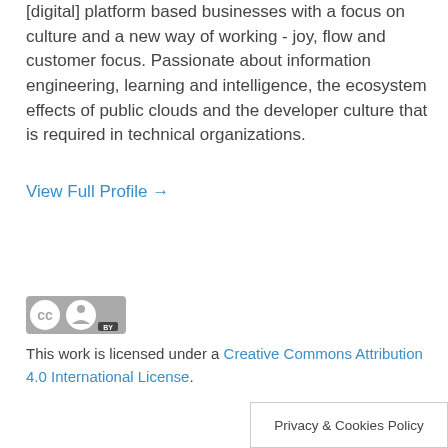[digital] platform based businesses with a focus on culture and a new way of working - joy, flow and customer focus. Passionate about information engineering, learning and intelligence, the ecosystem effects of public clouds and the developer culture that is required in technical organizations.
View Full Profile →
[Figure (logo): Creative Commons CC BY license badge]
This work is licensed under a Creative Commons Attribution 4.0 International License.
Privacy & Cookies Policy